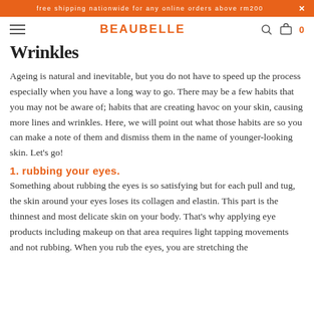free shipping nationwide for any online orders above rm200 ×
BEAUBELLE
Wrinkles
Ageing is natural and inevitable, but you do not have to speed up the process especially when you have a long way to go. There may be a few habits that you may not be aware of; habits that are creating havoc on your skin, causing more lines and wrinkles. Here, we will point out what those habits are so you can make a note of them and dismiss them in the name of younger-looking skin. Let's go!
1. rubbing your eyes.
Something about rubbing the eyes is so satisfying but for each pull and tug, the skin around your eyes loses its collagen and elastin. This part is the thinnest and most delicate skin on your body. That's why applying eye products including makeup on that area requires light tapping movements and not rubbing. When you rub the eyes, you are stretching the